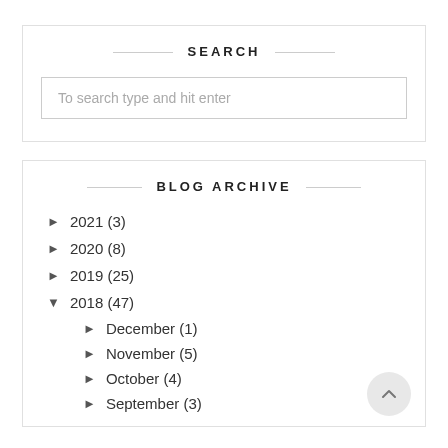SEARCH
To search type and hit enter
BLOG ARCHIVE
► 2021 (3)
► 2020 (8)
► 2019 (25)
▼ 2018 (47)
► December (1)
► November (5)
► October (4)
► September (3)